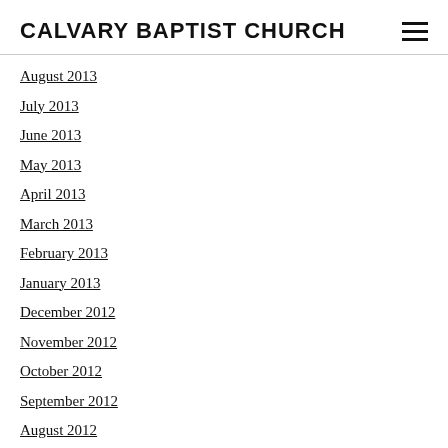CALVARY BAPTIST CHURCH
August 2013
July 2013
June 2013
May 2013
April 2013
March 2013
February 2013
January 2013
December 2012
November 2012
October 2012
September 2012
August 2012
July 2012
June 2012
May 2012